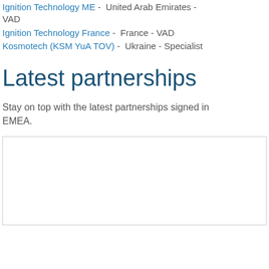Ignition Technology ME - United Arab Emirates - VAD
Ignition Technology France - France - VAD
Kosmotech (KSM YuA TOV) - Ukraine - Specialist
Latest partnerships
Stay on top with the latest partnerships signed in EMEA.
[Figure (other): Empty white box with border, likely a content placeholder]